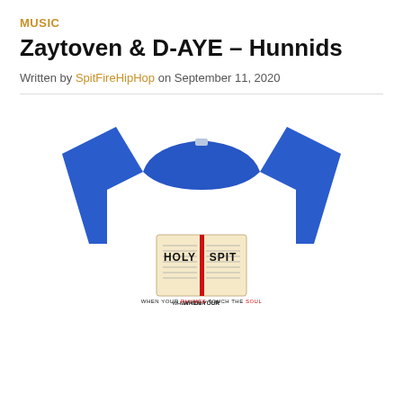MUSIC
Zaytoven & D-AYE – Hunnids
Written by SpitFireHipHop on September 11, 2020
[Figure (photo): Blue t-shirt with 'HOLY SPIT' graphic printed on the chest, showing an open book design with a red spine divider and text reading 'WHEN YOUR RHYMES TOUCH THE SOUL' below.]